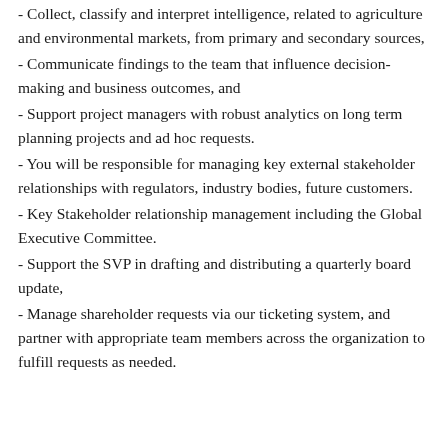- Collect, classify and interpret intelligence, related to agriculture and environmental markets, from primary and secondary sources,
- Communicate findings to the team that influence decision-making and business outcomes, and
- Support project managers with robust analytics on long term planning projects and ad hoc requests.
- You will be responsible for managing key external stakeholder relationships with regulators, industry bodies, future customers.
- Key Stakeholder relationship management including the Global Executive Committee.
- Support the SVP in drafting and distributing a quarterly board update,
- Manage shareholder requests via our ticketing system, and partner with appropriate team members across the organization to fulfill requests as needed.